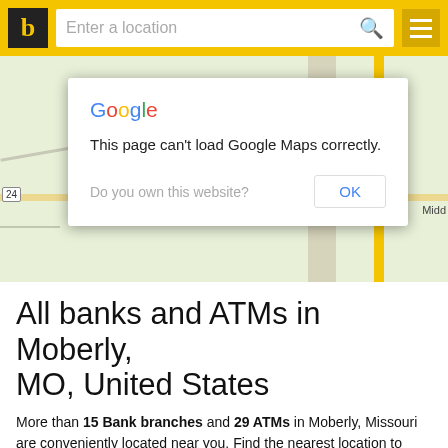b | Enter a location
[Figure (screenshot): Google Maps error dialog overlaid on a map background showing 'This page can't load Google Maps correctly.' with an OK button and 'Do you own this website?' text. Map shows green terrain with yellow road and route 24 marker near Moberly, MO.]
All banks and ATMs in Moberly, MO, United States
More than 15 Bank branches and 29 ATMs in Moberly, Missouri are conveniently located near you. Find the nearest location to open a CD, deposit funds and more. Get driving directions for every branch or ATM location in Moberly. Write a review to rate bank branch. Get customer phone numbers, opening hours for every Bank branch or ATM in Moberly.
All items: Branches (15) and ATMs (29)